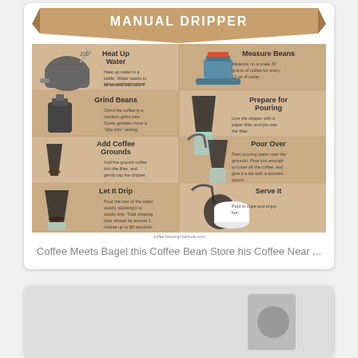[Figure (infographic): Manual dripper coffee brewing instructions infographic with 6 steps: Heat Up Water (200°F), Measure Beans (30g per 12oz water), Grind Beans (medium grind), Prepare for Pouring (line dripper with paper filter, pre-wet), Add Coffee Grounds (add ground coffee, tap dripper), Pour Over (pour water over grounds, stir, allow to bloom), Let It Drip (pour rest of water slowly, 1 minute up to 80 seconds), Serve It (pour in cups, enjoy hot). Source: coffee-brewing-methods.com]
Coffee Meets Bagel this Coffee Bean Store his Coffee Near ...
[Figure (photo): Partial image of another card below, partially visible at bottom of page]